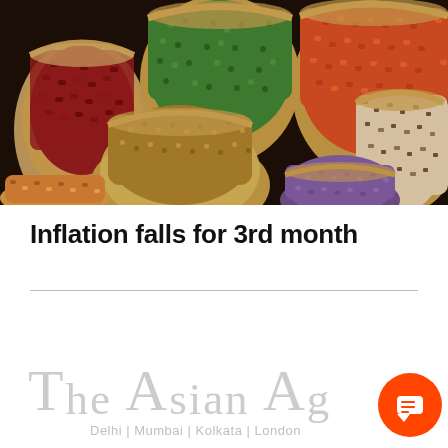[Figure (photo): Overhead view of multiple burlap sacks filled with colorful spices, grains, and legumes including red kidney beans, green mung beans, red lentils, coriander seeds, and black/white speckled beans arranged on a dark surface.]
Inflation falls for 3rd month
[Figure (logo): The Asian Age newspaper logo with tagline 'Delhi | Mumbai | Kolkata | London' in light grey watermark style, partially obscured by orange chat bubble icon in bottom right corner.]